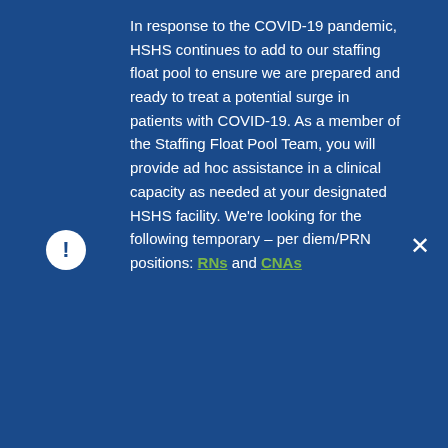In response to the COVID-19 pandemic, HSHS continues to add to our staffing float pool to ensure we are prepared and ready to treat a potential surge in patients with COVID-19. As a member of the Staffing Float Pool Team, you will provide ad hoc assistance in a clinical capacity as needed at your designated HSHS facility. We're looking for the following temporary – per diem/PRN positions: RNs and CNAs
[Figure (screenshot): Light blue toolbar with phone icon, mail icon, and Select Language dropdown]
[Figure (logo): HSHS St. Vincent Hospital logo with circular icon and text]
© HSHS St. Vincent's Hospital
HSHS